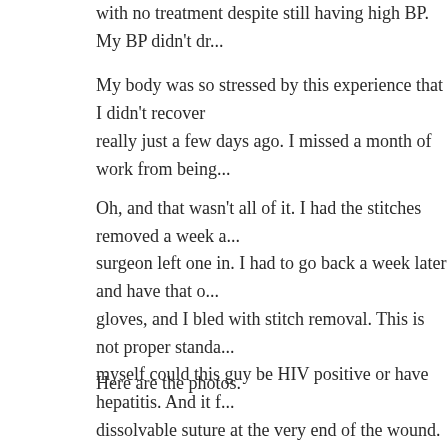with no treatment despite still having high BP. My BP didn't dr...
My body was so stressed by this experience that I didn't recover really just a few days ago. I missed a month of work from being...
Oh, and that wasn't all of it. I had the stitches removed a week a... surgeon left one in. I had to go back a week later and have that o... gloves, and I bled with stitch removal. This is not proper standa... myself could this guy be HIV positive or have hepatitis. And it f... dissolvable suture at the very end of the wound. So my nightma... getting stressed all over again just thinking about this.
Here are the photos.
[Figure (photo): Close-up photograph of what appears to be a wound or skin area with a drain or tube visible, showing skin texture and medical details.]